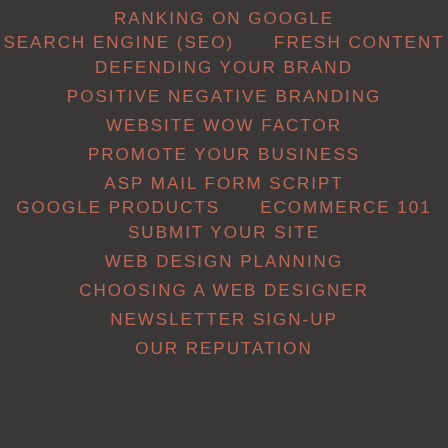RANKING ON GOOGLE
SEARCH ENGINE (SEO)     FRESH CONTENT
DEFENDING YOUR BRAND
POSITIVE NEGATIVE BRANDING
WEBSITE WOW FACTOR
PROMOTE YOUR BUSINESS
ASP MAIL FORM SCRIPT
GOOGLE PRODUCTS     ECOMMERCE 101
SUBMIT YOUR SITE
WEB DESIGN PLANNING
CHOOSING A WEB DESIGNER
NEWSLETTER SIGN-UP
OUR REPUTATION